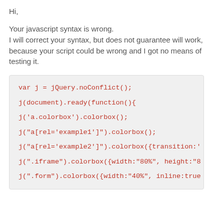Hi,
Your javascript syntax is wrong.
I will correct your syntax, but does not guarantee will work, because your script could be wrong and I got no means of testing it.
var j = jQuery.noConflict();

j(document).ready(function(){

j('a.colorbox').colorbox();

j("a[rel='example1']").colorbox();

j("a[rel='example2']").colorbox({transition:'

j(".iframe").colorbox({width:"80%", height:"8

j(".form").colorbox({width:"40%", inline:true